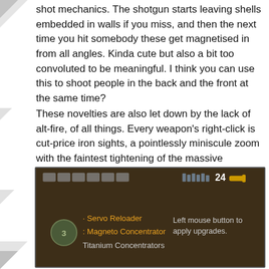shot mechanics. The shotgun starts leaving shells embedded in walls if you miss, and then the next time you hit somebody these get magnetised in from all angles. Kinda cute but also a bit too convoluted to be meaningful. I think you can use this to shoot people in the back and the front at the same time?
These novelties are also let down by the lack of alt-fire, of all things. Every weapon's right-click is cut-price iron sights, a pointlessly miniscule zoom with the faintest tightening of the massive crosshair (except the sniper rifle of course, which has a proper scope but no variable zoom). This means that the new firing modes have to make do with the single fire trigger.
[Figure (screenshot): In-game screenshot showing a weapon upgrade menu with orange text listing 'Servo Reloader' and 'Magneto Concentrator' upgrades, plus 'Titanium Concentrators' in white. Right side shows 'Left mouse button to apply upgrades.' text. Top shows ammo count of 24 and inventory slots.]